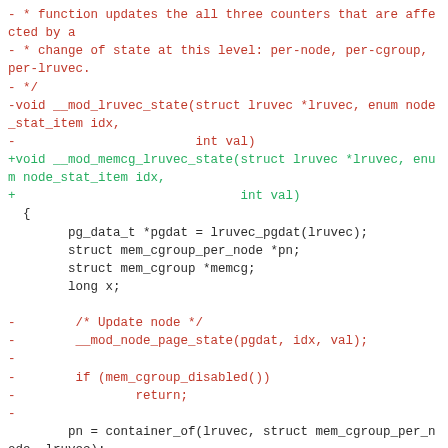Diff/patch code showing changes to __mod_lruvec_state renamed to __mod_memcg_lruvec_state, with context lines and a hunk header.